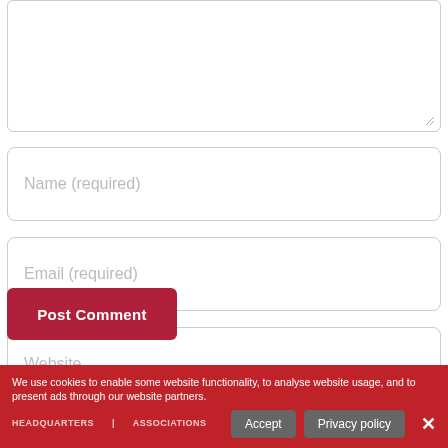[Figure (screenshot): Textarea input box at the top, partially visible, with a resize handle in the bottom-right corner]
Name (required)
Email (required)
Website
Save my name, email, and website in this browser for the next time I comment.
Post Comment
We use cookies to enable some website functionality, to analyse website usage, and to present ads through our website partners.
Accept
Privacy policy
HEADQUARTERS           ASSOCIATIONS